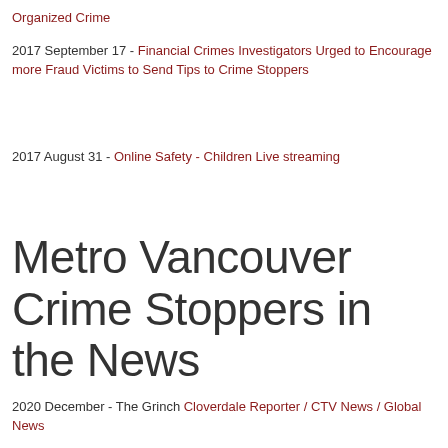Organized Crime
2017 September 17 - Financial Crimes Investigators Urged to Encourage more Fraud Victims to Send Tips to Crime Stoppers
2017 August 31 - Online Safety - Children Live streaming
Metro Vancouver Crime Stoppers in the News
2020 December - The Grinch Cloverdale Reporter / CTV News / Global News